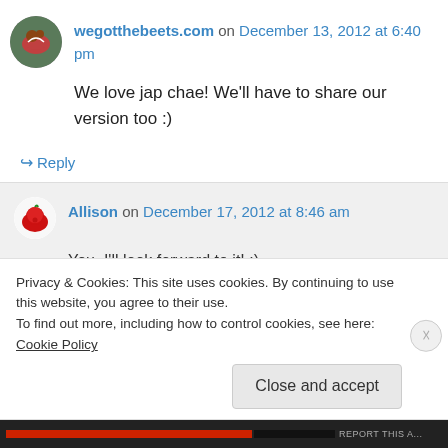wegotthebeets.com on December 13, 2012 at 6:40 pm
We love jap chae! We'll have to share our version too :)
↳ Reply
Allison on December 17, 2012 at 8:46 am
You, I'll look forward to it! :)
Privacy & Cookies: This site uses cookies. By continuing to use this website, you agree to their use.
To find out more, including how to control cookies, see here: Cookie Policy
Close and accept